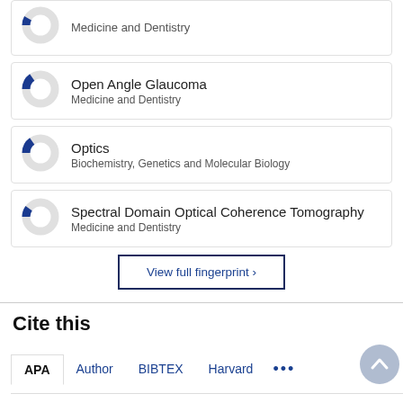[Figure (donut-chart): Partial donut chart for Prognostic Factor - Medicine and Dentistry, small blue segment]
[Figure (donut-chart): Donut chart for Open Angle Glaucoma - Medicine and Dentistry, ~15% blue segment]
[Figure (donut-chart): Donut chart for Optics - Biochemistry, Genetics and Molecular Biology, ~15% blue segment]
[Figure (donut-chart): Donut chart for Spectral Domain Optical Coherence Tomography - Medicine and Dentistry, small blue segment]
View full fingerprint >
Cite this
APA  Author  BIBTEX  Harvard  ...